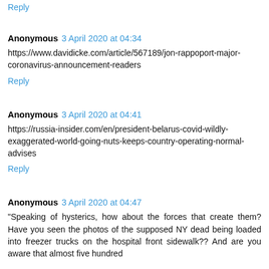Reply
Anonymous  3 April 2020 at 04:34
https://www.davidicke.com/article/567189/jon-rappoport-major-coronavirus-announcement-readers
Reply
Anonymous  3 April 2020 at 04:41
https://russia-insider.com/en/president-belarus-covid-wildly-exaggerated-world-going-nuts-keeps-country-operating-normal-advises
Reply
Anonymous  3 April 2020 at 04:47
"Speaking of hysterics, how about the forces that create them? Have you seen the photos of the supposed NY dead being loaded into freezer trucks on the hospital front sidewalk?? And are you aware that almost five hundred